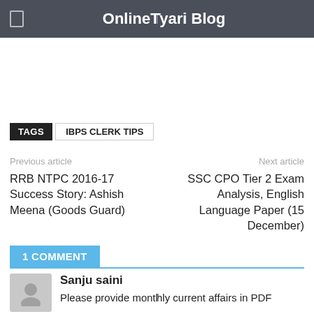OnlineTyari Blog
TAGS  IBPS CLERK TIPS
Previous article
RRB NTPC 2016-17 Success Story: Ashish Meena (Goods Guard)
Next article
SSC CPO Tier 2 Exam Analysis, English Language Paper (15 December)
1 COMMENT
Sanju saini
Please provide monthly current affairs in PDF